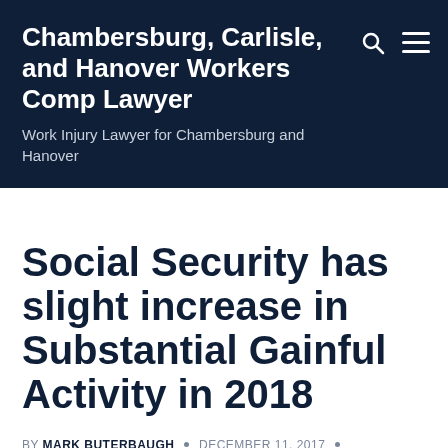Chambersburg, Carlisle, and Hanover Workers Comp Lawyer
Work Injury Lawyer for Chambersburg and Hanover
Social Security has slight increase in Substantial Gainful Activity in 2018
BY MARK BUTERBAUGH · DECEMBER 11, 2017 · WORKERS COMPENSATION